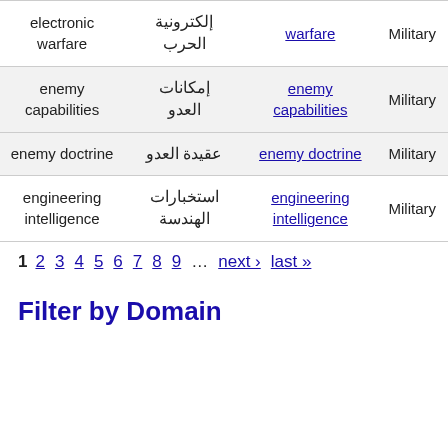| English | Arabic | Link | Domain |
| --- | --- | --- | --- |
| electronic warfare | الحرب الإلكترونية | warfare | Military |
| enemy capabilities | إمكانات العدو | enemy capabilities | Military |
| enemy doctrine | عقيدة العدو | enemy doctrine | Military |
| engineering intelligence | استخبارات الهندسة | engineering intelligence | Military |
1 2 3 4 5 6 7 8 9 … next › last »
Filter by Domain